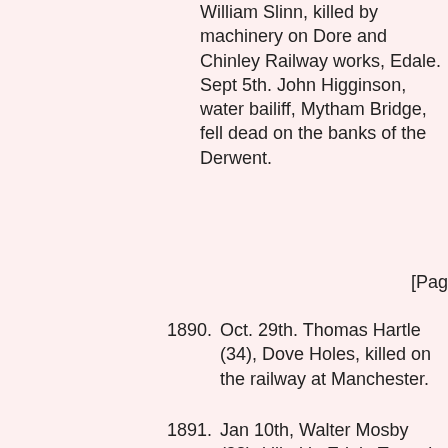William Slinn, killed by machinery on Dore and Chinley Railway works, Edale. Sept 5th. John Higginson, water bailiff, Mytham Bridge, fell dead on the banks of the Derwent.
[Pag
1890. Oct. 29th. Thomas Hartle (34), Dove Holes, killed on the railway at Manchester.
1891. Jan 10th, Walter Mosby (28), killed in Edale Tunnel on railway works. Jan 24th, Mary